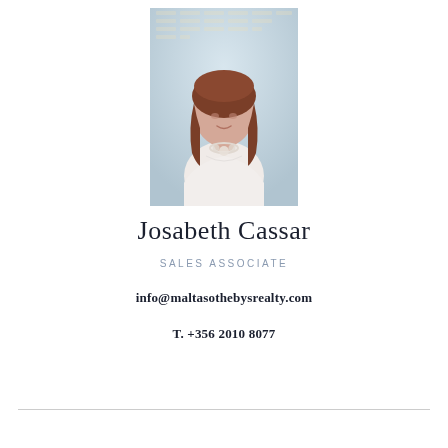[Figure (photo): Portrait photo of Josabeth Cassar, a woman with brown hair wearing a white sleeveless top and a pearl necklace, photographed against a light blue background with decorative grid lines]
Josabeth Cassar
SALES ASSOCIATE
info@maltasothebysrealty.com
T. +356 2010 8077